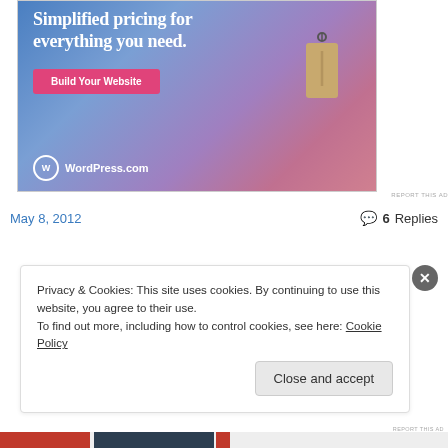[Figure (screenshot): WordPress.com advertisement banner with blue-to-pink gradient background, text 'Simplified pricing for everything you need.', a pink 'Build Your Website' button, a price tag illustration, and WordPress.com logo]
REPORT THIS AD
May 8, 2012
6 Replies
Privacy & Cookies: This site uses cookies. By continuing to use this website, you agree to their use.
To find out more, including how to control cookies, see here: Cookie Policy
Close and accept